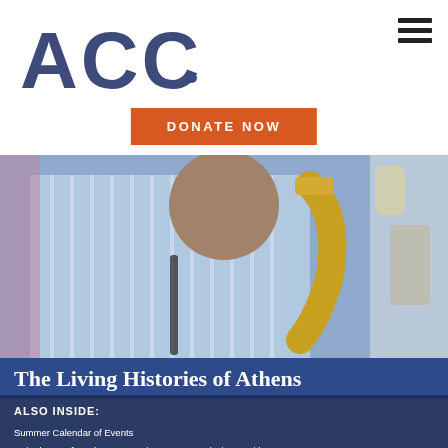[Figure (logo): ACCA logo in dark navy/slate blue bold letters with a small dot after the last A]
[Figure (other): Hamburger menu icon (three horizontal lines) in top right corner]
DONATE NOW
[Figure (photo): An elderly man playing a saxophone, wearing a blue striped shirt, colorful mural visible in background]
The Living Histories of Athens
ALSO INSIDE:
Summer Calendar of Events
United Way of Northeast Georgia's Legacy and History with ACCA
Cherished Recipes: From Our Family's Kitchen to Yours!